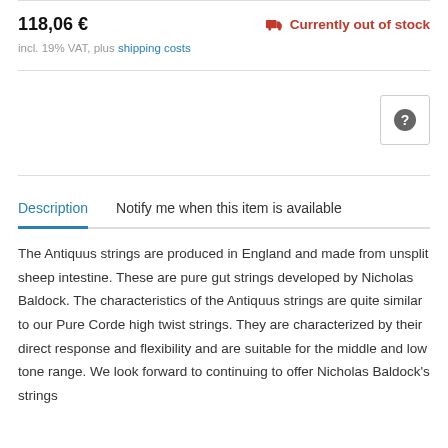118,06 €
Currently out of stock
incl. 19% VAT, plus shipping costs
Description
Notify me when this item is available
The Antiquus strings are produced in England and made from unsplit sheep intestine. These are pure gut strings developed by Nicholas Baldock. The characteristics of the Antiquus strings are quite similar to our Pure Corde high twist strings. They are characterized by their direct response and flexibility and are suitable for the middle and low tone range. We look forward to continuing to offer Nicholas Baldock's strings